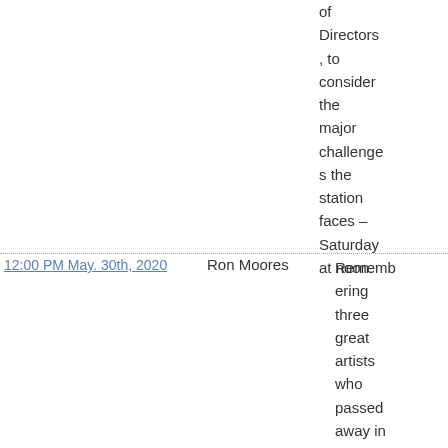of Directors, to consider the major challenges the station faces – Saturday at noon.
| Date/Time | Host | Description |  |
| --- | --- | --- | --- |
| 12:00 PM  May. 30th, 2020 | Ron Moores | Remembering three great artists who passed away in May: Lester Flatt, Keith Whitley |  |